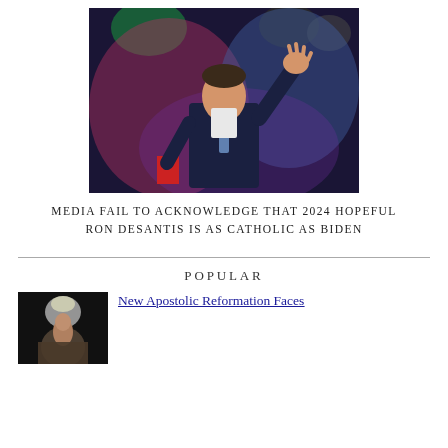[Figure (photo): Man in dark suit waving hand raised, stage lighting with green and colored lights in background]
MEDIA FAIL TO ACKNOWLEDGE THAT 2024 HOPEFUL RON DESANTIS IS AS CATHOLIC AS BIDEN
POPULAR
[Figure (photo): Person on stage with microphone in dark setting]
New Apostolic Reformation Faces